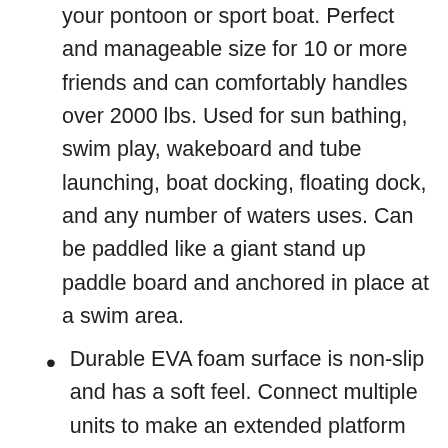your pontoon or sport boat. Perfect and manageable size for 10 or more friends and can comfortably handles over 2000 lbs. Used for sun bathing, swim play, wakeboard and tube launching, boat docking, floating dock, and any number of waters uses. Can be paddled like a giant stand up paddle board and anchored in place at a swim area.
Durable EVA foam surface is non-slip and has a soft feel. Connect multiple units to make an extended platform configuration. Features 11 side welded stainless d-rings, 6 carry handles, and 24 top & bottom welded web-loops for secure anchoring and holding accessories
Product INCLUDES 2 Inflators: PSI hand pump & Electric 15 PSI auto-set portable power inflator with 20” extend power cord ($129 value!). Plugs into both 12 volt options; cigarette lighter outlet